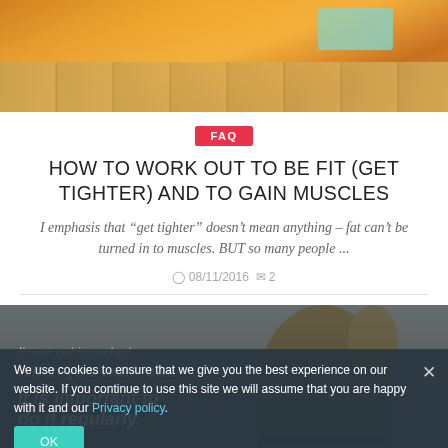[Figure (photo): Top portion of a person in orange/yellow fitness wear doing a pose on a gym floor with wood flooring and a cyan yoga mat visible in background]
FAQ
HOW TO WORK OUT TO BE FIT (GET TIGHTER) AND TO GAIN MUSCLES
I emphasis that “get tighter” doesn’t mean anything – fat can’t be turned in to muscles. BUT so many people ...
08/11/2016  2
[Figure (photo): A blond woman taking a selfie in a mirror, with motivational text overlay reading 'It was not important when you work out. It is important to do it regularly.' on a dark semi-transparent background]
We use cookies to ensure that we give you the best experience on our website. If you continue to use this site we will assume that you are happy with it and our Privacy policy.